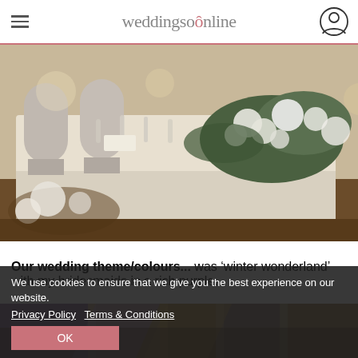weddingsonline
[Figure (photo): Wedding reception table decorated with white floral arrangements and greenery, white chair covers, glassware and place settings]
Our wedding theme/colours... was 'winter wonderland' with my bridesmaids in a rich purple.
[Figure (photo): Partial view of a wedding venue with colorful lighting]
We use cookies to ensure that we give you the best experience on our website.
Privacy Policy   Terms & Conditions
OK